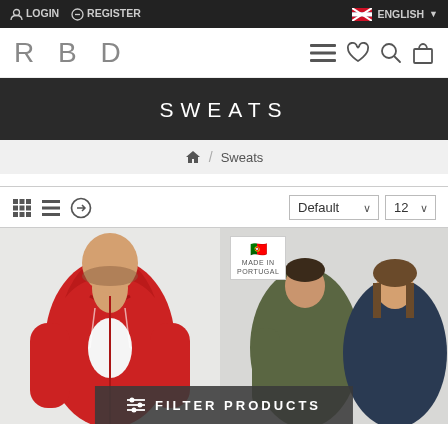LOGIN  REGISTER  ENGLISH
RBD
SWEATS
🏠 / Sweats
Default  12
[Figure (photo): Two product photos: left shows a man in a red zip hoodie/sweatshirt; right shows a man and woman in olive/navy sweatshirts with a Portugal 'Made in Portugal' badge overlay. A 'FILTER PRODUCTS' button overlay appears at the bottom.]